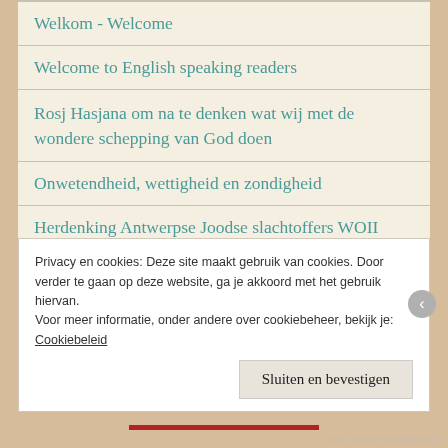Welkom - Welcome
Welcome to English speaking readers
Rosj Hasjana om na te denken wat wij met de wondere schepping van God doen
Onwetendheid, wettigheid en zondigheid
Herdenking Antwerpse Joodse slachtoffers WOII
Privacy en cookies: Deze site maakt gebruik van cookies. Door verder te gaan op deze website, ga je akkoord met het gebruik hiervan.
Voor meer informatie, onder andere over cookiebeheer, bekijk je: Cookiebeleid
Sluiten en bevestigen